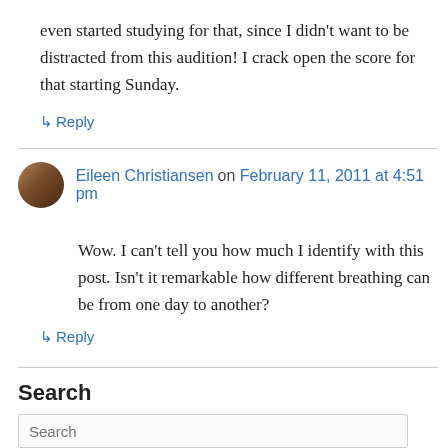even started studying for that, since I didn't want to be distracted from this audition! I crack open the score for that starting Sunday.
↳ Reply
Eileen Christiansen on February 11, 2011 at 4:51 pm
Wow. I can't tell you how much I identify with this post. Isn't it remarkable how different breathing can be from one day to another?
↳ Reply
Search
Search